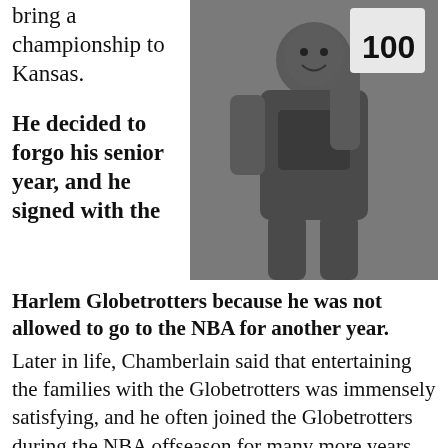bring a championship to Kansas.
He decided to forgo his senior year, and he signed with the
[Figure (photo): Black and white photograph of Wilt Chamberlain in a basketball uniform holding up a sign that reads '100']
Harlem Globetrotters because he was not allowed to go to the NBA for another year. Later in life, Chamberlain said that entertaining the families with the Globetrotters was immensely satisfying, and he often joined the Globetrotters during the NBA offseason for many more years.